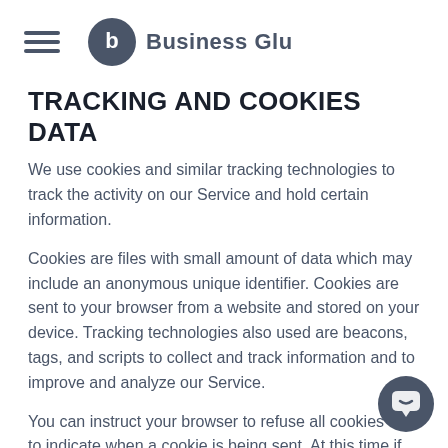Business Glu
TRACKING AND COOKIES DATA
We use cookies and similar tracking technologies to track the activity on our Service and hold certain information.
Cookies are files with small amount of data which may include an anonymous unique identifier. Cookies are sent to your browser from a website and stored on your device. Tracking technologies also used are beacons, tags, and scripts to collect and track information and to improve and analyze our Service.
You can instruct your browser to refuse all cookies or to indicate when a cookie is being sent. At this time if you do not accept cookies most of our Services are expected to work.